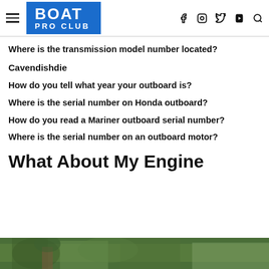BOAT PRO CLUB
Where is the transmission model number located?
Cavendishdie
How do you tell what year your outboard is?
Where is the serial number on Honda outboard?
How do you read a Mariner outboard serial number?
Where is the serial number on an outboard motor?
What About My Engine
[Figure (photo): Outdoor photo showing a person near trees, partially visible at bottom of page]